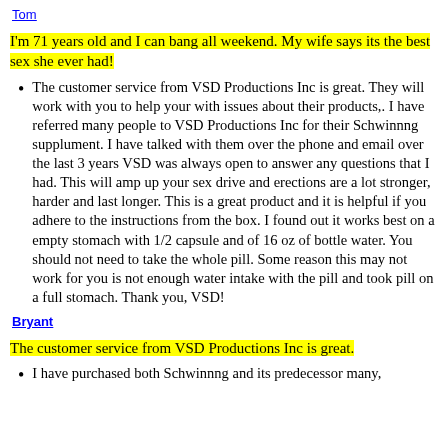Tom
I'm 71 years old and I can bang all weekend. My wife says its the best sex she ever had!
The customer service from VSD Productions Inc is great. They will work with you to help your with issues about their products,. I have referred many people to VSD Productions Inc for their Schwinnng supplument. I have talked with them over the phone and email over the last 3 years VSD was always open to answer any questions that I had. This will amp up your sex drive and erections are a lot stronger, harder and last longer. This is a great product and it is helpful if you adhere to the instructions from the box. I found out it works best on a empty stomach with 1/2 capsule and of 16 oz of bottle water. You should not need to take the whole pill. Some reason this may not work for you is not enough water intake with the pill and took pill on a full stomach. Thank you, VSD!
Bryant
The customer service from VSD Productions Inc is great.
I have purchased both Schwinnng and its predecessor many,